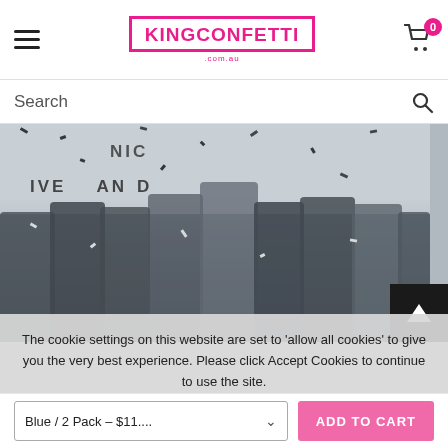KINGCONFETTI .com.au — Navigation header with hamburger menu and cart icon showing 0 items
Search
[Figure (photo): Event photo showing a group of young people celebrating at a River Island event with confetti falling, overlaid with a cookie consent notice]
The cookie settings on this website are set to 'allow all cookies' to give you the very best experience. Please click Accept Cookies to continue to use the site.
PRIVACY POLICY   ACCEPT ✓
EVENT SERVICES
Blue / 2 Pack – $11....   ADD TO CART